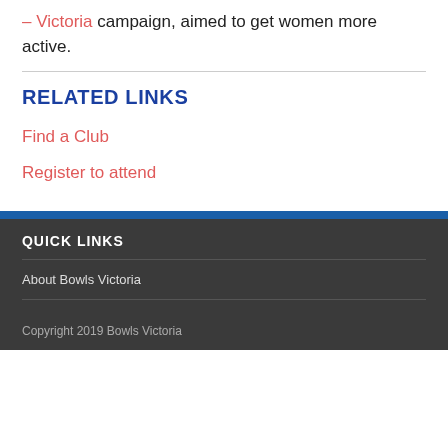– Victoria campaign, aimed to get women more active.
RELATED LINKS
Find a Club
Register to attend
QUICK LINKS
About Bowls Victoria
Copyright 2019 Bowls Victoria